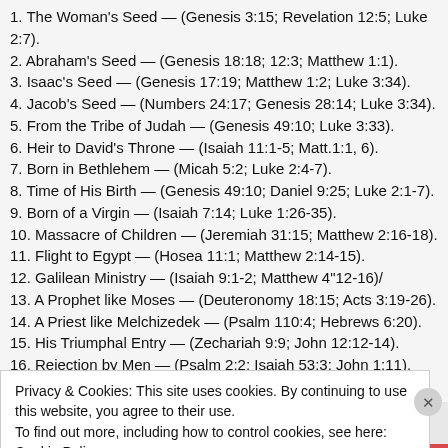1. The Woman's Seed — (Genesis 3:15; Revelation 12:5; Luke 2:7).
2. Abraham's Seed — (Genesis 18:18; 12:3; Matthew 1:1).
3. Isaac's Seed — (Genesis 17:19; Matthew 1:2; Luke 3:34).
4. Jacob's Seed — (Numbers 24:17; Genesis 28:14; Luke 3:34).
5. From the Tribe of Judah — (Genesis 49:10; Luke 3:33).
6. Heir to David's Throne — (Isaiah 11:1-5; Matt.1:1, 6).
7. Born in Bethlehem — (Micah 5:2; Luke 2:4-7).
8. Time of His Birth — (Genesis 49:10; Daniel 9:25; Luke 2:1-7).
9. Born of a Virgin — (Isaiah 7:14; Luke 1:26-35).
10. Massacre of Children — (Jeremiah 31:15; Matthew 2:16-18).
11. Flight to Egypt — (Hosea 11:1; Matthew 2:14-15).
12. Galilean Ministry — (Isaiah 9:1-2; Matthew 4"12-16)/
13. A Prophet like Moses — (Deuteronomy 18:15; Acts 3:19-26).
14. A Priest like Melchizedek — (Psalm 110:4; Hebrews 6:20).
15. His Triumphal Entry — (Zechariah 9:9; John 12:12-14).
16. Rejection by Men — (Psalm 2:2; Isaiah 53:3; John 1:11).
17. Personal Character — (Isaiah 11:2-4; Luke 2:52; 4:18).
Privacy & Cookies: This site uses cookies. By continuing to use this website, you agree to their use.
To find out more, including how to control cookies, see here: Cookie Policy